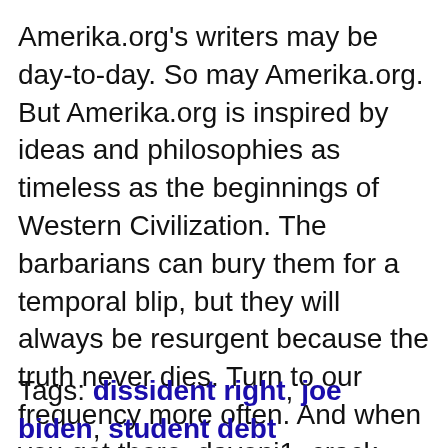Amerika.org's writers may be day-to-day. So may Amerika.org. But Amerika.org is inspired by ideas and philosophies as timeless as the beginnings of Western Civilization. The barbarians can bury them for a temporal blip, but they will always be resurgent because the truth never dies. Turn to our frequency more often. And when you get there, davenj1, crack that futhermucker up!
Tags: dissident right, joe biden, student debt